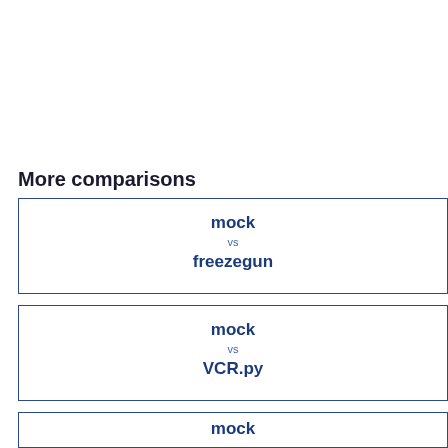More comparisons
| mock | vs | freezegun |
| mock | vs | VCR.py |
| mock | vs |